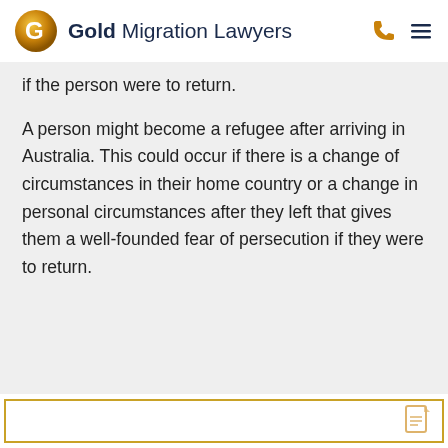Gold Migration Lawyers
if the person were to return.
A person might become a refugee after arriving in Australia. This could occur if there is a change of circumstances in their home country or a change in personal circumstances after they left that gives them a well-founded fear of persecution if they were to return.